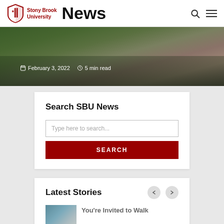Stony Brook University News
[Figure (photo): Close-up photo of a person in a light blue shirt outdoors with green foliage background. Date and read time overlay: February 3, 2022 · 5 min read]
February 3, 2022   5 min read
Search SBU News
Type here to search...
SEARCH
Latest Stories
You're Invited to Walk